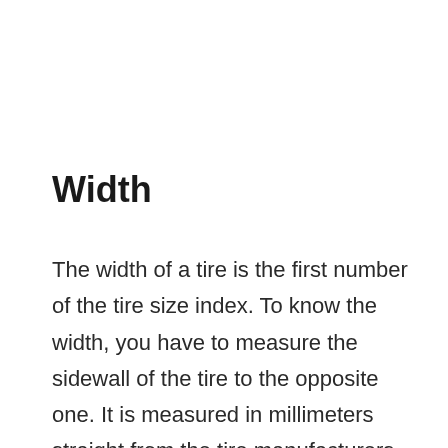Width
The width of a tire is the first number of the tire size index. To know the width, you have to measure the sidewall of the tire to the opposite one. It is measured in millimeters straight from the tire manufacturers. And the digit in the tire size index representing width